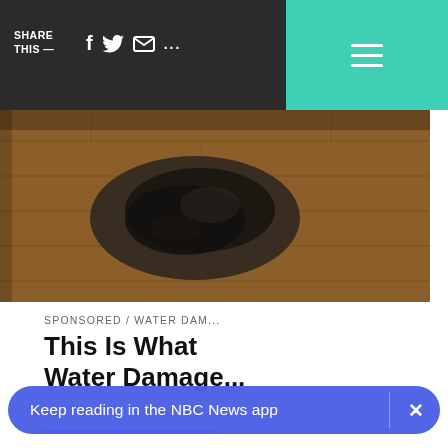SHARE THIS — [facebook] [twitter] [email] [more]
[Figure (photo): Water damage on a hardwood floor — dark mold or stain visible on wooden planks]
SPONSORED / WATER DAM...
This Is What Water Damage...
More From NBC News
[Figure (screenshot): Thumbnail row showing NBC News logo tiles and a photo of a woman in a purple shirt]
Keep reading in the NBC News app